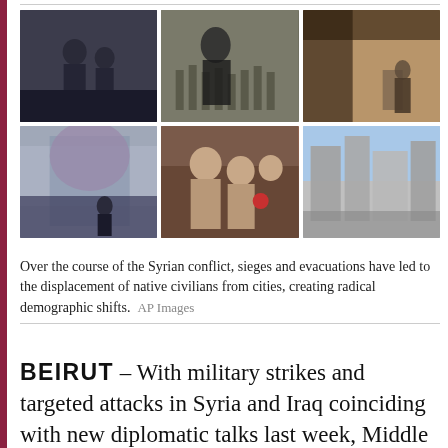[Figure (photo): Grid of six photographs related to the Syrian conflict: top row shows armed fighters in a street, a person at a graveyard with rows of markers, and a child in a destroyed building interior; bottom row shows a street scene with a banner/mural and a person in a wheelchair, civilians reaching for food aid, and destroyed city buildings.]
Over the course of the Syrian conflict, sieges and evacuations have led to the displacement of native civilians from cities, creating radical demographic shifts.  AP Images
BEIRUT – With military strikes and targeted attacks in Syria and Iraq coinciding with new diplomatic talks last week, Middle East analyst